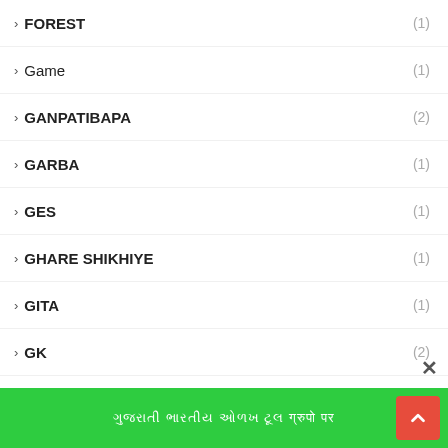› FOREST (1)
› Game (1)
› GANPATIBAPA (2)
› GARBA (1)
› GES (1)
› GHARE SHIKHIYE (1)
› GITA (1)
› GK (2)
› GMC (1)
› Gold (1)
› GOOGLE (1)
› GOV.JOB (1)
ગુજરાતી ભારતીય ઓળખ ટૂલ ग्रुपो पर